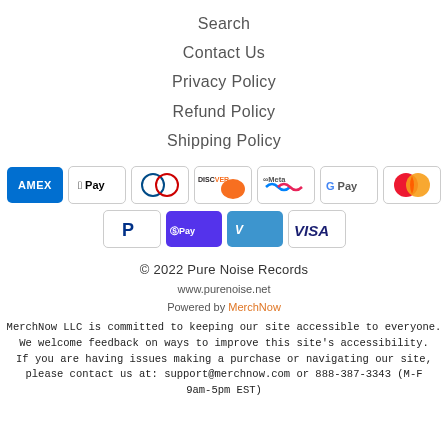Search
Contact Us
Privacy Policy
Refund Policy
Shipping Policy
[Figure (other): Payment method icons: American Express, Apple Pay, Diners Club, Discover, Meta Pay, Google Pay, Mastercard, PayPal, Shop Pay, Venmo, Visa]
© 2022 Pure Noise Records
www.purenoise.net
Powered by MerchNow
MerchNow LLC is committed to keeping our site accessible to everyone. We welcome feedback on ways to improve this site's accessibility. If you are having issues making a purchase or navigating our site, please contact us at: support@merchnow.com or 888-387-3343 (M-F 9am-5pm EST)